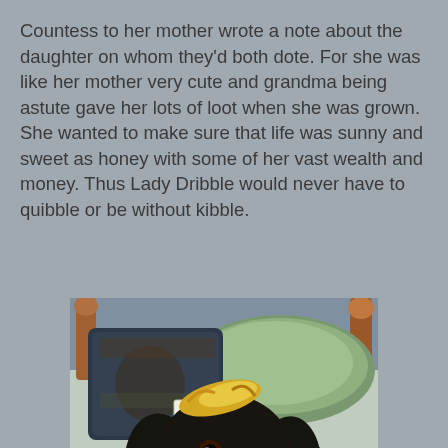Countess to her mother wrote a note about the daughter on whom they'd both dote. For she was like her mother very cute and grandma being astute gave her lots of loot when she was grown. She wanted to make sure that life was sunny and sweet as honey with some of her vast wealth and money. Thus Lady Dribble would never have to quibble or be without kibble.
[Figure (photo): A black and tan Cocker Spaniel or similar dog lying on a pale green satin bed with decorative pillows and a wooden headboard. The dog has a small blonde hair accessory clipped to its head. Pink accessories (mirror, comb, beads) are visible in the lower left corner. A small circular watermark is visible in the lower right.]